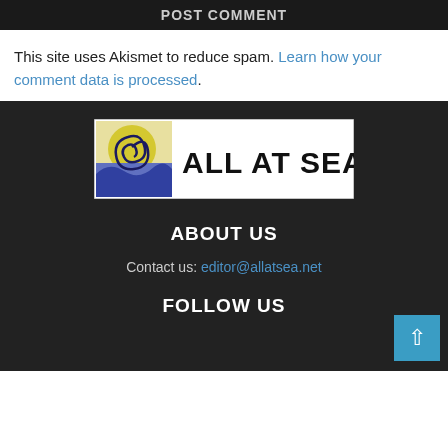POST COMMENT
This site uses Akismet to reduce spam. Learn how your comment data is processed.
[Figure (logo): All At Sea logo — square icon with wave and sun design, beside bold text ALL AT SEA]
ABOUT US
Contact us: editor@allatsea.net
FOLLOW US